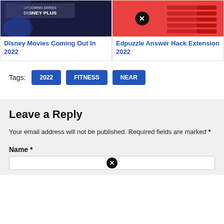Disney Movies Coming Out In 2022
Edpuzzle Answer Hack Extension 2022
Tags: 2022  FITNESS  NEAR
Leave a Reply
Your email address will not be published. Required fields are marked *
Name *